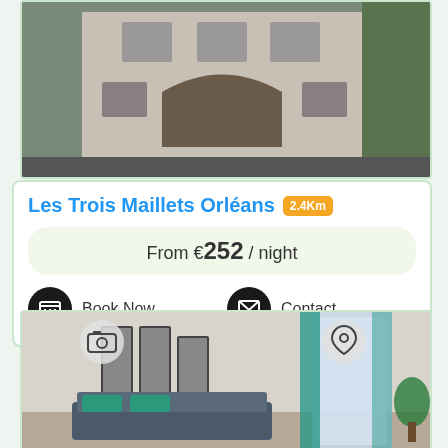[Figure (photo): Exterior facade of Les Trois Maillets Orléans, a historic stone building with arched entrance and multiple windows]
Les Trois Maillets Orléans 2.4Km
From €252 / night
Book Now
Contact
[Figure (photo): Interior room photo showing a modern living area with sofa, mirrors, teal curtains and natural light from window]